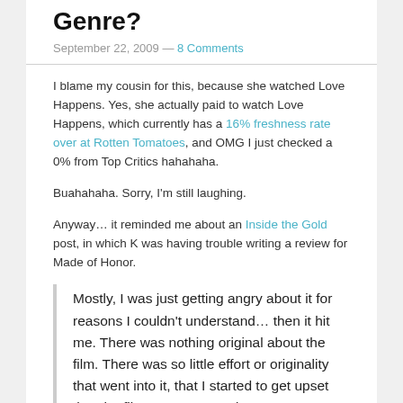Genre?
September 22, 2009 — 8 Comments
I blame my cousin for this, because she watched Love Happens. Yes, she actually paid to watch Love Happens, which currently has a 16% freshness rate over at Rotten Tomatoes, and OMG I just checked a 0% from Top Critics hahahaha.
Buahahaha. Sorry, I'm still laughing.
Anyway… it reminded me about an Inside the Gold post, in which K was having trouble writing a review for Made of Honor.
Mostly, I was just getting angry about it for reasons I couldn't understand… then it hit me. There was nothing original about the film. There was so little effort or originality that went into it, that I started to get upset that the film was even made.
That was followed by a request of Chick Flicks – of course, I added a bunch. Good and Bad, and the Guilty Pleasures